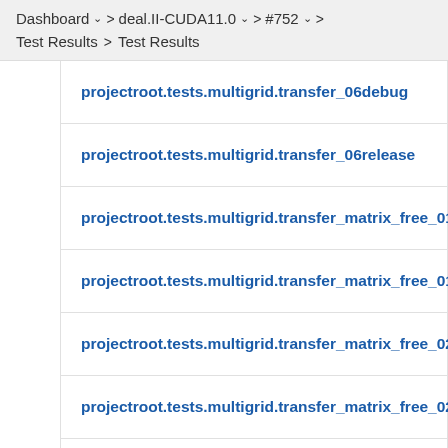Dashboard > deal.II-CUDA11.0 > #752 > Test Results > Test Results
projectroot.tests.multigrid.transfer_06debug
projectroot.tests.multigrid.transfer_06release
projectroot.tests.multigrid.transfer_matrix_free_01debug
projectroot.tests.multigrid.transfer_matrix_free_01release
projectroot.tests.multigrid.transfer_matrix_free_02_block_02...
projectroot.tests.multigrid.transfer_matrix_free_02_block_02...
projectroot.tests.multigrid.transfer_matrix_free_02_blockdeb...